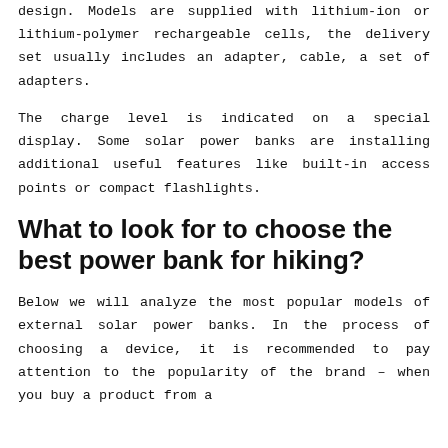design. Models are supplied with lithium-ion or lithium-polymer rechargeable cells, the delivery set usually includes an adapter, cable, a set of adapters.
The charge level is indicated on a special display. Some solar power banks are installing additional useful features like built-in access points or compact flashlights.
What to look for to choose the best power bank for hiking?
Below we will analyze the most popular models of external solar power banks. In the process of choosing a device, it is recommended to pay attention to the popularity of the brand – when you buy a product from a